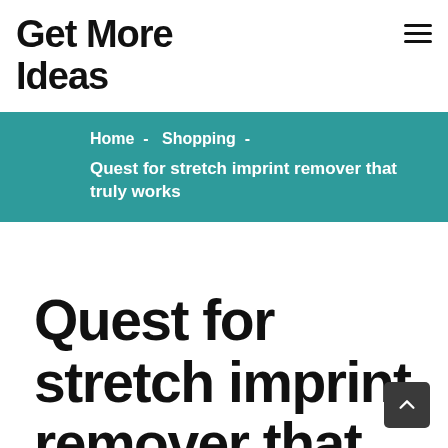Get More Ideas
Home - Shopping - Quest for stretch imprint remover that truly works
Quest for stretch imprint remover that truly works